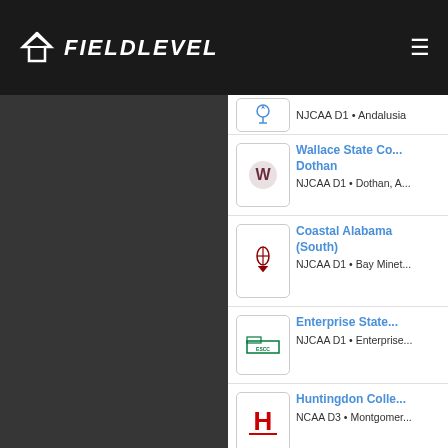FIELDLEVEL
NJCAA D1 • Andalusia
Wallace State Community College Dothan
NJCAA D1 • Dothan, A
Coastal Alabama (South)
NJCAA D1 • Bay Minet
Enterprise State
NJCAA D1 • Enterprise
Huntingdon College
NCAA D3 • Montgomer
Spring Hill College
NCAA D2 • Mobile, AL
Mississippi Colle